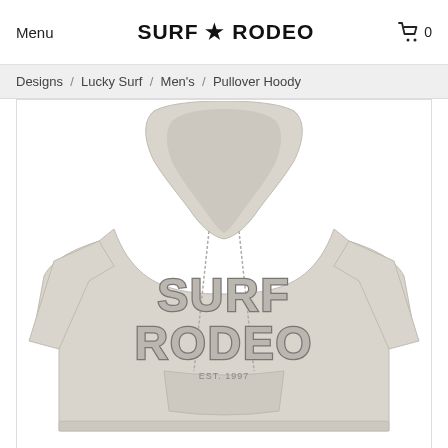Menu  SURF ★ RODEO  🛒 0
Designs / Lucky Surf / Men's / Pullover Hoody
[Figure (photo): A light heather gray pullover hoodie with 'SURF RODEO' printed in large decorative western-style outlined letters on the chest, with 'EST. 1997' printed below in small text.]